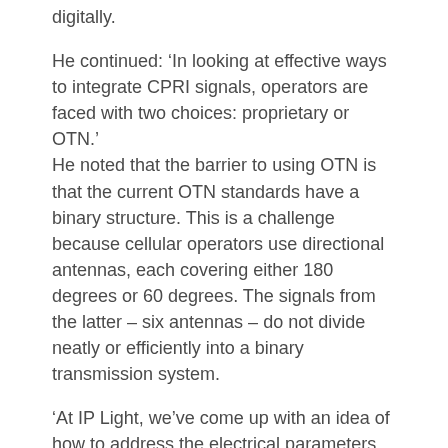digitally.
He continued: ‘In looking at effective ways to integrate CPRI signals, operators are faced with two choices: proprietary or OTN.’ He noted that the barrier to using OTN is that the current OTN standards have a binary structure. This is a challenge because cellular operators use directional antennas, each covering either 180 degrees or 60 degrees. The signals from the latter – six antennas – do not divide neatly or efficiently into a binary transmission system.
‘At IP Light, we’ve come up with an idea of how to address the electrical parameters and we are proposing modifications to the OTN standard that will be optimised for CPRI signals,’ he said.
This solution, which he says ‘takes advantage of different features of fronthaul’, will be presented to the ITU.
‘Our proposal will offer significant advantages,’ he said.